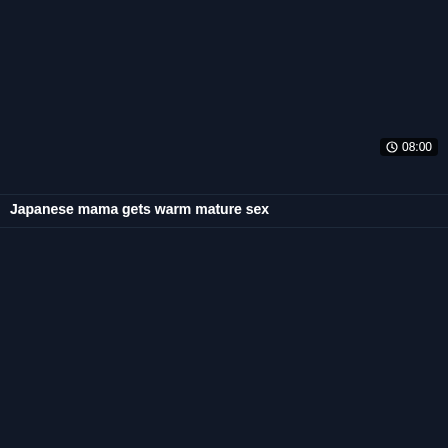[Figure (screenshot): Dark thumbnail area for first video card]
08:00
Japanese mama gets warm mature sex
[Figure (screenshot): Dark thumbnail area for second video card]
128:24
Best sex tweak Asian Sex full version
[Figure (screenshot): Dark thumbnail area for third video card (partially visible)]